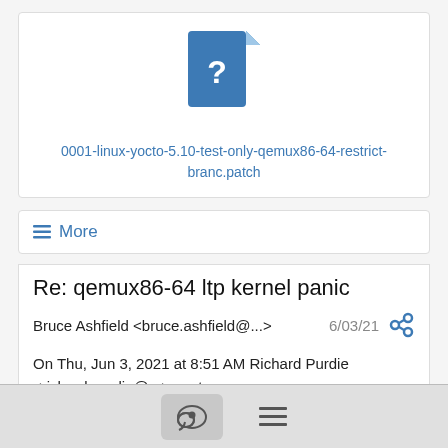[Figure (illustration): Blue document/file icon with question mark, representing an unknown file attachment]
0001-linux-yocto-5.10-test-only-qemux86-64-restrict-branc.patch
≡ More
Re: qemux86-64 ltp kernel panic
Bruce Ashfield <bruce.ashfield@...>
6/03/21
On Thu, Jun 3, 2021 at 8:51 AM Richard Purdie <richard.purdie@...> wrote:
On Thu, 2021-06-03 at 08:34 -0400, Bruce Ashfield wrote: